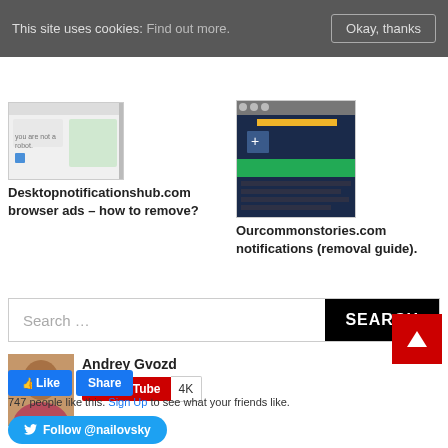This site uses cookies: Find out more. [Okay, thanks]
Desktopnotificationshub.com browser ads – how to remove?
Ourcommonstories.com notifications (removal guide).
Search …
Andrey Gvozd
YouTube 4K
747 people like this. Sign Up to see what your friends like.
Follow @nailovsky